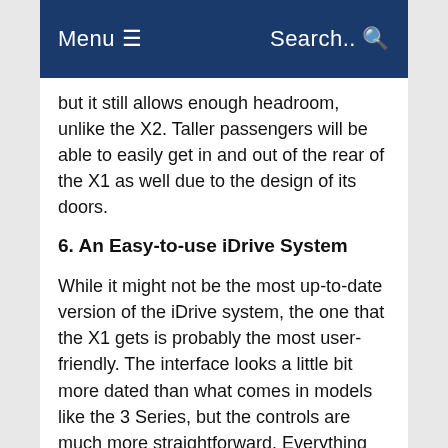Menu ☰   Search.. 🔍
but it still allows enough headroom, unlike the X2. Taller passengers will be able to easily get in and out of the rear of the X1 as well due to the design of its doors.
6. An Easy-to-use iDrive System
While it might not be the most up-to-date version of the iDrive system, the one that the X1 gets is probably the most user-friendly. The interface looks a little bit more dated than what comes in models like the 3 Series, but the controls are much more straightforward. Everything feels intuitive, and the controls are all clearly labeled on the touchscreen display. The physical controller paired